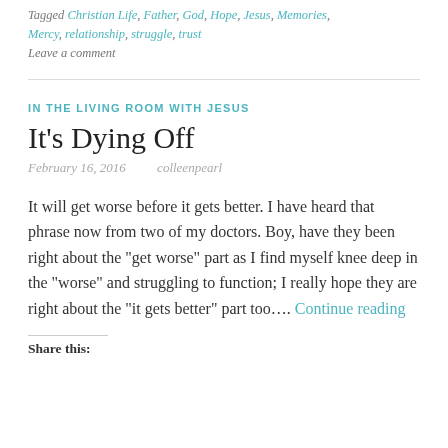Tagged Christian Life, Father, God, Hope, Jesus, Memories, Mercy, relationship, struggle, trust
Leave a comment
IN THE LIVING ROOM WITH JESUS
It's Dying Off
February 16, 2016   colleenpearl
It will get worse before it gets better. I have heard that phrase now from two of my doctors. Boy, have they been right about the "get worse" part as I find myself knee deep in the "worse" and struggling to function; I really hope they are right about the "it gets better" part too…. Continue reading
Share this: